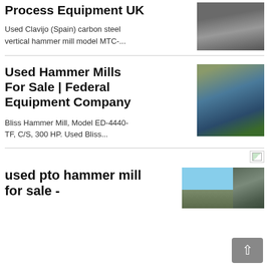Process Equipment UK
Used Clavijo (Spain) carbon steel vertical hammer mill model MTC-...
[Figure (photo): Aerial or close-up photo of gravel/aggregate material, gray tones]
Used Hammer Mills For Sale | Federal Equipment Company
Bliss Hammer Mill, Model ED-4440-TF, C/S, 300 HP. Used Bliss...
[Figure (photo): Photo of blue industrial hammer mill machinery outdoors]
[Figure (photo): Small broken/loading image icon]
used pto hammer mill for sale -
[Figure (photo): Photo of industrial equipment against blue sky background]
[Figure (photo): Photo of industrial building/tower structure]